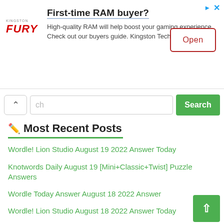[Figure (infographic): Kingston Fury advertisement banner. Headline: 'First-time RAM buyer?'. Body: 'High-quality RAM will help boost your gaming experience. Check out our buyers guide. Kingston Technology'. Logo: Kingston Fury in red italic. Button: 'Open' in dark red border.]
[Figure (screenshot): Search bar with back arrow chevron, text input showing 'ch', and green Search button.]
Most Recent Posts
Wordle! Lion Studio August 19 2022 Answer Today
Knotwords Daily August 19 [Mini+Classic+Twist] Puzzle Answers
Wordle Today Answer August 18 2022 Answer
Wordle! Lion Studio August 18 2022 Answer Today
Knotwords Daily August 18 [Mini+Classic+Twist] Puzzle Answers